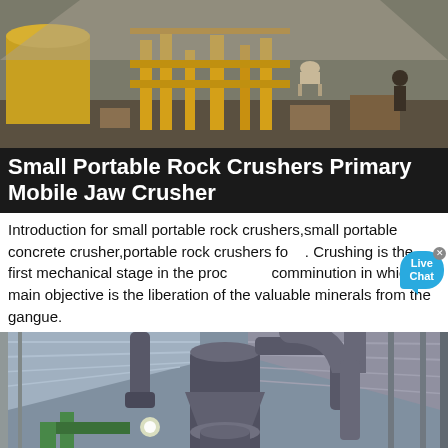[Figure (photo): Outdoor industrial setting with yellow machinery, pipes, and equipment for rock crushing. Workers visible in background.]
Small Portable Rock Crushers Primary Mobile Jaw Crusher
Introduction for small portable rock crushers,small portable concrete crusher,portable rock crushers fo... Crushing is the first mechanical stage in the proc... comminution in which the main objective is the liberation of the valuable minerals from the gangue.
[Figure (photo): Interior of large industrial warehouse/factory with large grey milling or crushing machinery, piping, and conveyor systems under a metal roof.]